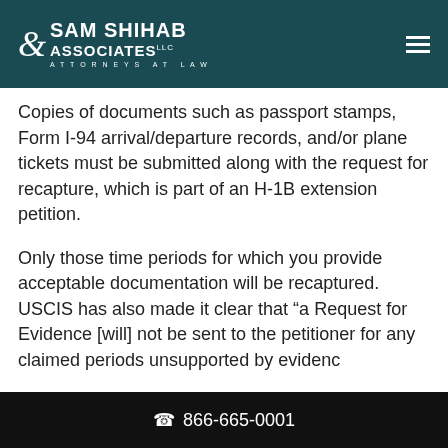Sam Shihab & Associates LLC – Attorneys at Law
Copies of documents such as passport stamps, Form I-94 arrival/departure records, and/or plane tickets must be submitted along with the request for recapture, which is part of an H-1B extension petition.
Only those time periods for which you provide acceptable documentation will be recaptured. USCIS has also made it clear that “a Request for Evidence [will] not be sent to the petitioner for any claimed periods unsupported by evidence
866-665-0001